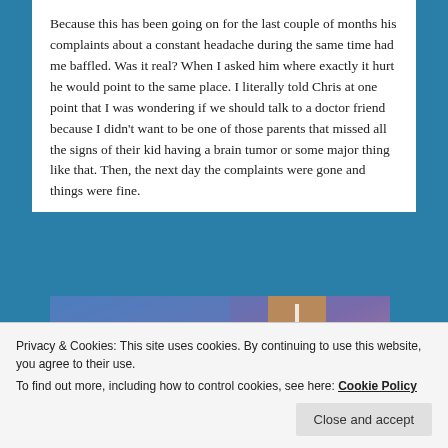Because this has been going on for the last couple of months his complaints about a constant headache during the same time had me baffled. Was it real? When I asked him where exactly it hurt he would point to the same place. I literally told Chris at one point that I was wondering if we should talk to a doctor friend because I didn't want to be one of those parents that missed all the signs of their kid having a brain tumor or some major thing like that. Then, the next day the complaints were gone and things were fine.
[Figure (photo): Partial view of an image with blue-purple gradient background and a brown rectangular object in the upper right area, partially cropped]
Privacy & Cookies: This site uses cookies. By continuing to use this website, you agree to their use.
To find out more, including how to control cookies, see here: Cookie Policy
Close and accept